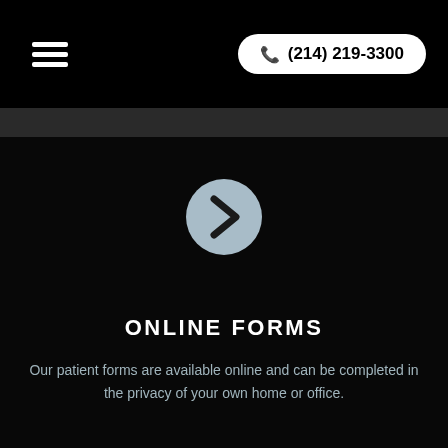☰  (214) 219-3300
[Figure (illustration): A circular icon with a light blue/grey background containing a right-pointing chevron arrow (›), serving as a navigation or link button for online forms.]
ONLINE FORMS
Our patient forms are available online and can be completed in the privacy of your own home or office.